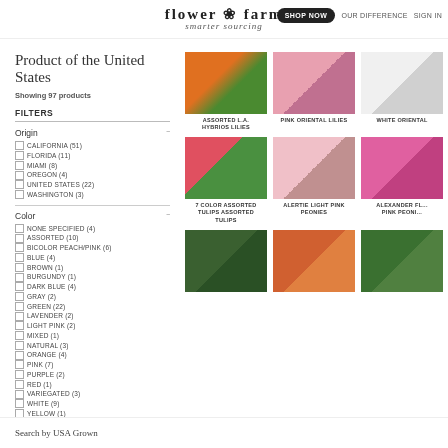flower farm smarter sourcing | SHOP NOW | OUR DIFFERENCE | SIGN IN
Product of the United States
Showing 97 products
FILTERS
Origin
CALIFORNIA (51)
FLORIDA (11)
MIAMI (8)
OREGON (4)
UNITED STATES (22)
WASHINGTON (3)
Color
NONE SPECIFIED (4)
ASSORTED (10)
BICOLOR PEACH/PINK (6)
BLUE (4)
BROWN (1)
BURGUNDY (1)
DARK BLUE (4)
GRAY (2)
GREEN (22)
LAVENDER (2)
LIGHT PINK (2)
MIXED (1)
NATURAL (3)
ORANGE (4)
Pink (7)
PURPLE (2)
RED (1)
VARIEGATED (3)
WHITE (9)
YELLOW (1)
[Figure (photo): Assorted orange/white L.A. hybrid lilies bouquet]
ASSORTED L.A. HYBRIOS LILIES
[Figure (photo): Pink oriental lily single flower on wooden background]
PINK ORIENTAL LILIES
[Figure (photo): White oriental lily on wooden background]
WHITE ORIENTAL
[Figure (photo): 7 color assorted tulips bunch]
7 COLOR ASSORTED TULIPS ASSORTED TULIPS
[Figure (photo): Alertie light pink peony single flower]
ALERTIE LIGHT PINK PEONIES
[Figure (photo): Alexander Fleming pink peony flower]
ALEXANDER FL... PINK PEONI...
[Figure (photo): Green foliage product]
[Figure (photo): Orange flower cluster]
[Figure (photo): Green plant/foliage]
Search by USA Grown